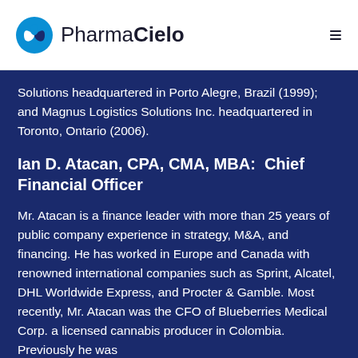PharmaCielo
Solutions headquartered in Porto Alegre, Brazil (1999); and Magnus Logistics Solutions Inc. headquartered in Toronto, Ontario (2006).
Ian D. Atacan, CPA, CMA, MBA:  Chief Financial Officer
Mr. Atacan is a finance leader with more than 25 years of public company experience in strategy, M&A, and financing. He has worked in Europe and Canada with renowned international companies such as Sprint, Alcatel, DHL Worldwide Express, and Procter & Gamble. Most recently, Mr. Atacan was the CFO of Blueberries Medical Corp. a licensed cannabis producer in Colombia. Previously he was the CFO of Magnus Logistics Solutions Inc. headquartered in